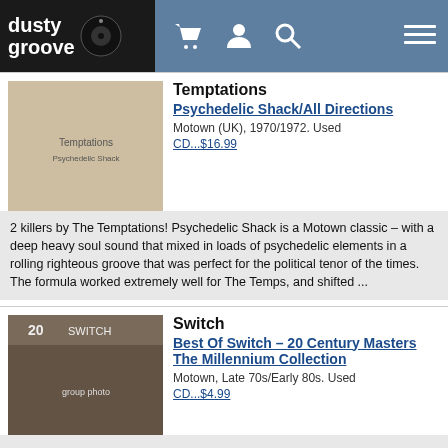dusty groove
Temptations
Psychedelic Shack/All Directions
Motown (UK), 1970/1972. Used
CD...$16.99
2 killers by The Temptations! Psychedelic Shack is a Motown classic – with a deep heavy soul sound that mixed in loads of psychedelic elements in a rolling righteous groove that was perfect for the political tenor of the times. The formula worked extremely well for The Temps, and shifted ...
Switch
Best Of Switch – 20 Century Masters The Millennium Collection
Motown, Late 70s/Early 80s. Used
CD...$4.99
...
Various
Motown Chartbusters Vol 3
Motown/Spectrum (UK), Late 60s. Used
CD...$3.99
Featuring the Temptations, Edwin Starr, the Isley Brothers, Marv Johnson, Diana Ross & The Supremes, the Four Tops, Stevie Wonder, Martha Reeves & The Vandellas, and more.